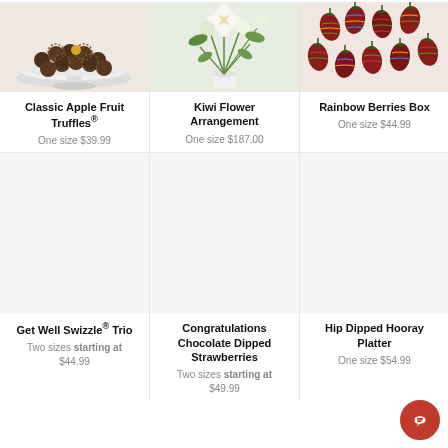[Figure (photo): Classic Apple Fruit Truffles on a white cake stand]
Classic Apple Fruit Truffles®
One size $39.99
[Figure (photo): Kiwi Flower Arrangement - white flowers in a vase]
Kiwi Flower Arrangement
One size $187.00
[Figure (photo): Rainbow Berries Box - colorful chocolate dipped strawberries]
Rainbow Berries Box
One size $44.99
[Figure (photo): Get Well Swizzle® Trio - product image]
Get Well Swizzle® Trio
Two sizes starting at $44.99
[Figure (photo): Congratulations Chocolate Dipped Strawberries]
Congratulations Chocolate Dipped Strawberries
Two sizes starting at $49.99
[Figure (photo): Hip Dipped Hooray Platter]
Hip Dipped Hooray Platter
One size $54.99